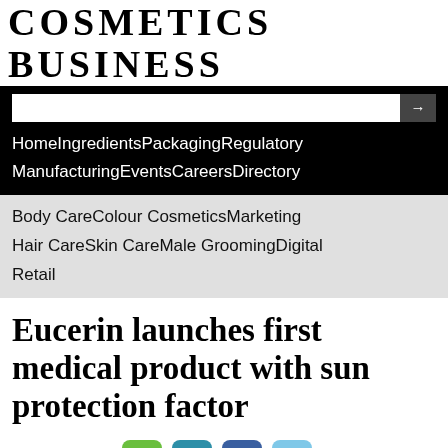COSMETICS BUSINESS
Home  Ingredients  Packaging  Regulatory  Manufacturing  Events  Careers  Directory
Body Care  Colour Cosmetics  Marketing  Hair Care  Skin Care  Male Grooming  Digital  Retail
Eucerin launches first medical product with sun protection factor
24-Feb-2021
Sun Care